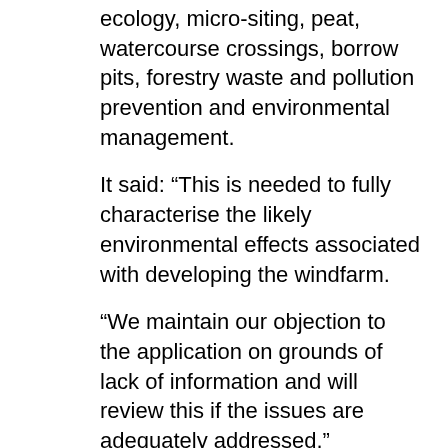ecology, micro-siting, peat, watercourse crossings, borrow pits, forestry waste and pollution prevention and environmental management.
It said: “This is needed to fully characterise the likely environmental effects associated with developing the windfarm.
“We maintain our objection to the application on grounds of lack of information and will review this if the issues are adequately addressed.”
It said it had no objection to the work on flood risk grounds and would support a planning condition that the company employ an ecological clerk of works.
The Faw Side community group says the